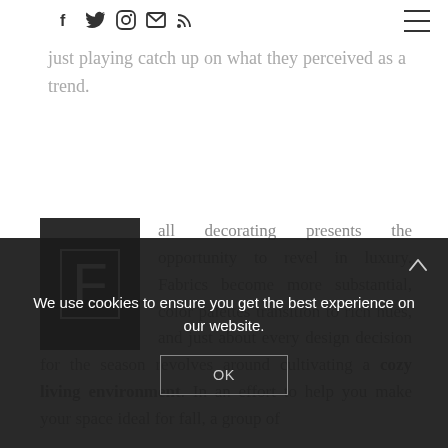Social icons and navigation hamburger menu
just playing catch up on what they perceived as a trend.
Fall decorating presents the opportunity to revel in luxury. Fabrics become more substantial, color palettes transition to rich hues, and just about every design decision for the season revolves around cultivating a cozy living environment. In an effort to help you make your space ideal for fall, a group of
We use cookies to ensure you get the best experience on our website.
OK